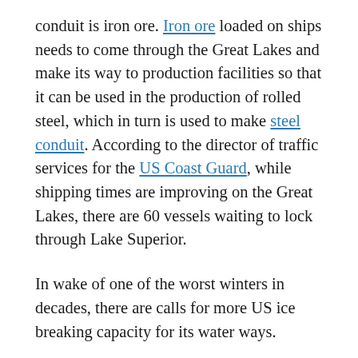conduit is iron ore. Iron ore loaded on ships needs to come through the Great Lakes and make its way to production facilities so that it can be used in the production of rolled steel, which in turn is used to make steel conduit. According to the director of traffic services for the US Coast Guard, while shipping times are improving on the Great Lakes, there are 60 vessels waiting to lock through Lake Superior.
In wake of one of the worst winters in decades, there are calls for more US ice breaking capacity for its water ways.
So in essence, the harsh winter is still impacting the production of steel conduit.